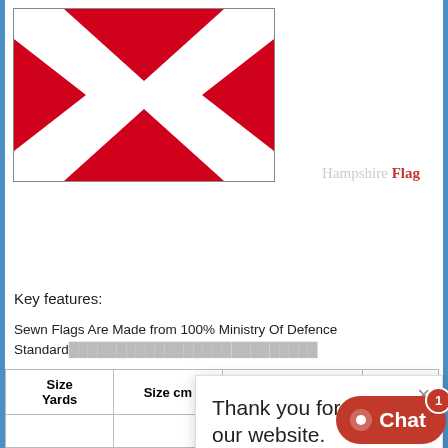[Figure (illustration): Flag with red background and white X cross (St Patrick's Cross style), shown in a bordered box. Hampshire Flag logo watermark to the right.]
Key features:
Sewn Flags Are Made from 100% Ministry Of Defence Standard Woven Knitted Polyester
Sewn Flags… And Dye…
Printed F… Standard…
[Figure (screenshot): Chat popup overlay: 'Thank you for visiting our website. If you have any questions please talk to us by typing something in the box below.' with a Hello message and avatar, and a close X button.]
| Size
Yards | Size cm | DYE Printed Flag | MOD … |
| --- | --- | --- | --- |
|  |  |  |  |